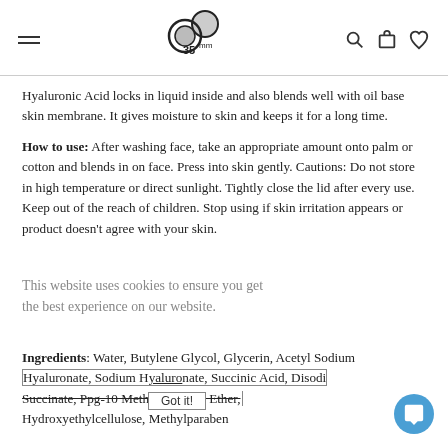35mm logo with hamburger menu, search, cart, and heart icons
Hyaluronic Acid locks in liquid inside and also blends well with oil base skin membrane. It gives moisture to skin and keeps it for a long time.
How to use: After washing face, take an appropriate amount onto palm or cotton and blends in on face. Press into skin gently. Cautions: Do not store in high temperature or direct sunlight. Tightly close the lid after every use. Keep out of the reach of children. Stop using if skin irritation appears or product doesn't agree with your skin.
This website uses cookies to ensure you get the best experience on our website. Got it!
Ingredients: Water, Butylene Glycol, Glycerin, Acetyl Sodium Hyaluronate, Sodium Hyaluronate, Succinic Acid, Disodium Succinate, Ppg-10 Methyl Glucose Ether, Hydroxyethylcellulose, Methylparaben